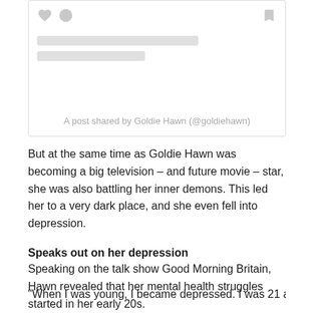[Figure (screenshot): Instagram embedded post card showing heart icon, user avatar placeholder, bookmark icon, two gray placeholder bars for text, and a caption reading 'A post shared by Goldie Hawn (@goldiehawn)']
But at the same time as Goldie Hawn was becoming a big television – and future movie – star, she was also battling her inner demons. This led her to a very dark place, and she even fell into depression.
Speaks out on her depression
Speaking on the talk show Good Morning Britain, Hawn revealed that her mental health struggles started in her early 20s.
"When I was young, I became depressed. I was 21 and I was